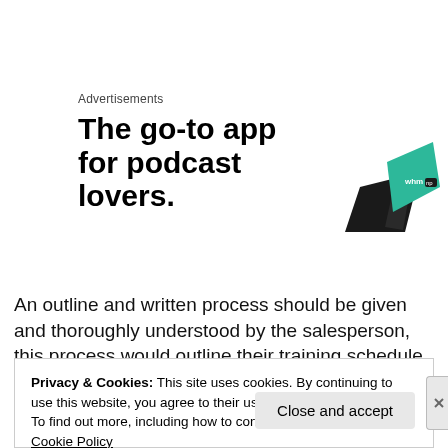Advertisements
[Figure (illustration): Advertisement banner for a podcast app showing bold text 'The go-to app for podcast lovers.' with a graphic of a dark device and green card with 'whm' text]
An outline and written process should be given and thoroughly understood by the salesperson, this process would outline their training schedule and objectives for completion, before allowing
Privacy & Cookies: This site uses cookies. By continuing to use this website, you agree to their use.
To find out more, including how to control cookies, see here: Cookie Policy
Close and accept